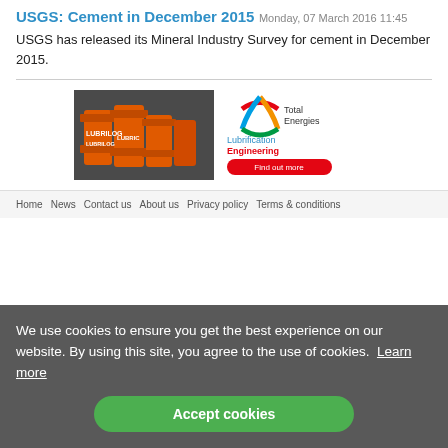USGS: Cement in December 2015
Monday, 07 March 2016 11:45
USGS has released its Mineral Industry Survey for cement in December 2015.
[Figure (advertisement): TotalEnergies Lubrilog advertisement banner showing orange industrial drums on left side and TotalEnergies logo with 'Lubrification Engineering' text and red 'Find out more' button on right]
Home  News  Contact us  About us  Privacy policy  Terms & conditions
We use cookies to ensure you get the best experience on our website. By using this site, you agree to the use of cookies.  Learn more
Accept cookies